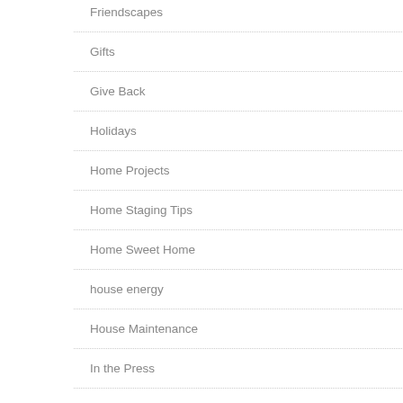Friendscapes
Gifts
Give Back
Holidays
Home Projects
Home Staging Tips
Home Sweet Home
house energy
House Maintenance
In the Press
Inspiration
Lessons
Occupied Staging
Open Concept
Real Estate Prep